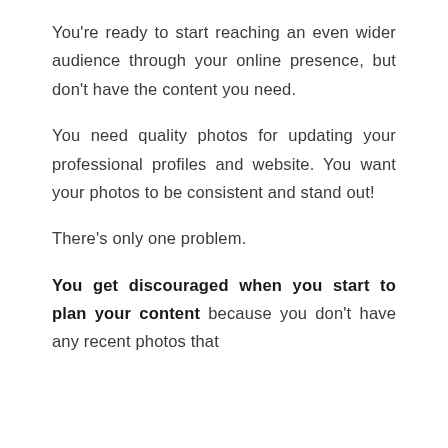You're ready to start reaching an even wider audience through your online presence, but don't have the content you need.
You need quality photos for updating your professional profiles and website. You want your photos to be consistent and stand out!
There's only one problem.
You get discouraged when you start to plan your content because you don't have any recent photos that